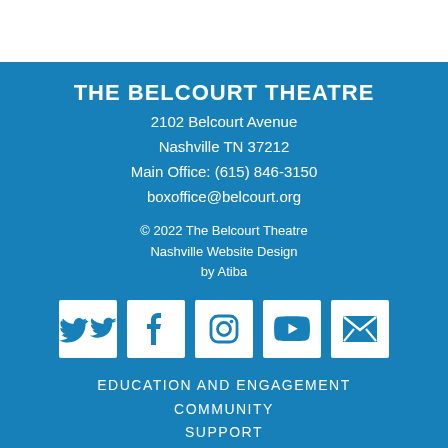THE BELCOURT THEATRE
2102 Belcourt Avenue
Nashville TN 37212
Main Office: (615) 846-3150
boxoffice@belcourt.org
© 2022 The Belcourt Theatre
Nashville Website Design
by Atiba
[Figure (infographic): Five social media icon buttons in white squares on blue background: Twitter bird icon, Facebook f icon, Instagram camera icon, YouTube play button icon, envelope/email icon]
EDUCATION AND ENGAGEMENT
COMMUNITY
SUPPORT